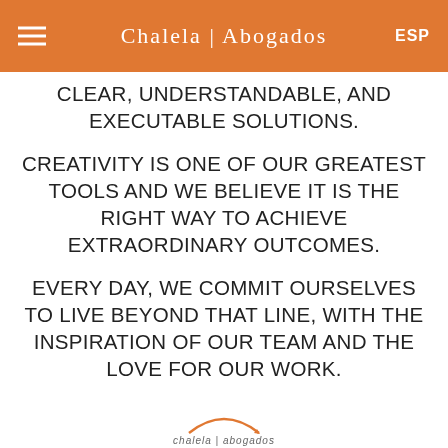Chalela | Abogados  ESP
CLEAR, UNDERSTANDABLE, AND EXECUTABLE SOLUTIONS.
CREATIVITY IS ONE OF OUR GREATEST TOOLS AND WE BELIEVE IT IS THE RIGHT WAY TO ACHIEVE EXTRAORDINARY OUTCOMES.
EVERY DAY, WE COMMIT OURSELVES TO LIVE BEYOND THAT LINE, WITH THE INSPIRATION OF OUR TEAM AND THE LOVE FOR OUR WORK.
[Figure (logo): Chalela Abogados logo arc and text at bottom of page]